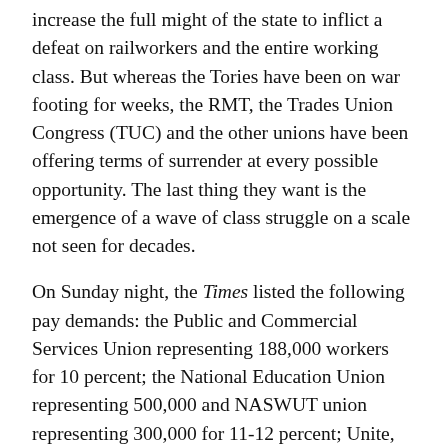increase the full might of the state to inflict a defeat on railworkers and the entire working class. But whereas the Tories have been on war footing for weeks, the RMT, the Trades Union Congress (TUC) and the other unions have been offering terms of surrender at every possible opportunity. The last thing they want is the emergence of a wave of class struggle on a scale not seen for decades.
On Sunday night, the Times listed the following pay demands: the Public and Commercial Services Union representing 188,000 workers for 10 percent; the National Education Union representing 500,000 and NASWUT union representing 300,000 for 11-12 percent; Unite, Unison and the GMB representing 1.4 million local government workers for 11 percent; the Royal College of Nursing representing 500,000 for 16 percent and the British Medical Association representing 160,000 for 22 percent for junior doctors.
Not one of these bureaucracies, which have collectively...